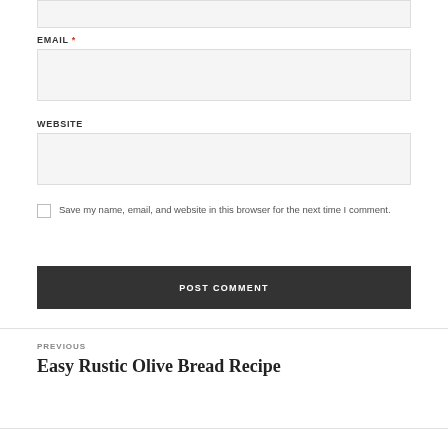[Figure (screenshot): Top portion of a web comment form input box (partially visible at top of page)]
EMAIL *
[Figure (screenshot): Email input field (empty, light gray background)]
WEBSITE
[Figure (screenshot): Website input field (empty, light gray background)]
Save my name, email, and website in this browser for the next time I comment.
POST COMMENT
PREVIOUS
Easy Rustic Olive Bread Recipe